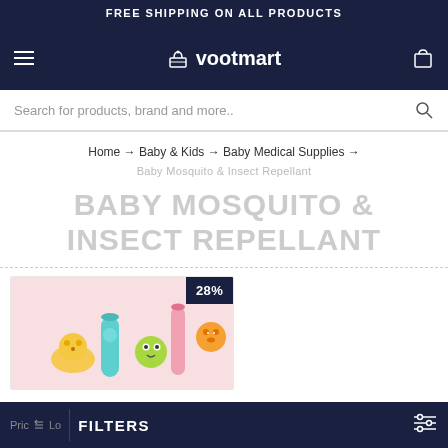FREE SHIPPING ON ALL PRODUCTS
[Figure (logo): Vootmart logo with shopping cart icon and hamburger menu on dark navy navigation bar]
Search for products, brand and more..
Home → Baby & Kids → Baby Medical Supplies →
Baby Mosquito & Insect Repellant
BABY MOSQUITO & INSECT REPELLANT
[Figure (photo): Product card showing colorful baby mosquito repellant wristbands on pink background with 28% discount badge]
FILTERS